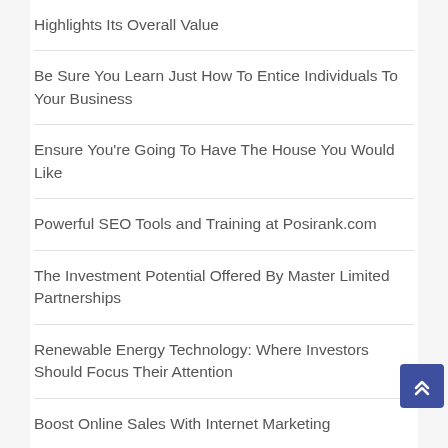Highlights Its Overall Value
Be Sure You Learn Just How To Entice Individuals To Your Business
Ensure You're Going To Have The House You Would Like
Powerful SEO Tools and Training at Posirank.com
The Investment Potential Offered By Master Limited Partnerships
Renewable Energy Technology: Where Investors Should Focus Their Attention
Boost Online Sales With Internet Marketing